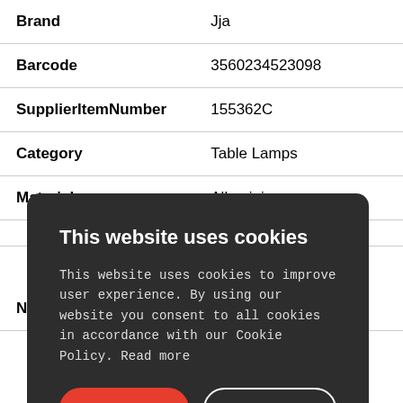| Field | Value |
| --- | --- |
| Brand | Jja |
| Barcode | 3560234523098 |
| SupplierItemNumber | 155362C |
| Category | Table Lamps |
| Material | Alluminium |
| Number Of Lamps | 1 |
This website uses cookies

This website uses cookies to improve user experience. By using our website you consent to all cookies in accordance with our Cookie Policy. Read more

ACCEPT ALL   DECLINE ALL

⚙ SHOW DETAILS